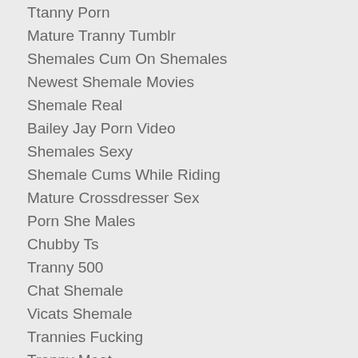Ttanny Porn
Mature Tranny Tumblr
Shemales Cum On Shemales
Newest Shemale Movies
Shemale Real
Bailey Jay Porn Video
Shemales Sexy
Shemale Cums While Riding
Mature Crossdresser Sex
Porn She Males
Chubby Ts
Tranny 500
Chat Shemale
Vicats Shemale
Trannies Fucking
Tranny Meat
Nicole Bahls Porn